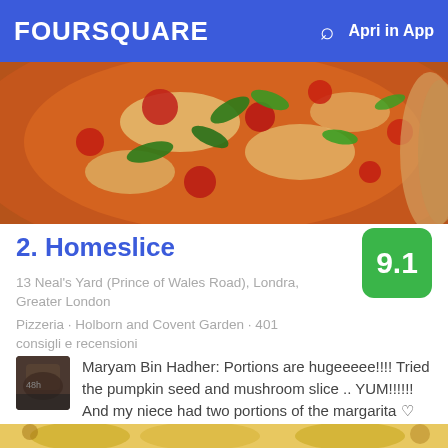FOURSQUARE   Apri in App
[Figure (photo): Close-up photo of a pizza topped with tomato sauce, cheese, fresh basil and vegetables, shot from above on a wooden board]
2. Homeslice
9.1
13 Neal's Yard (Prince of Wales Road), Londra, Greater London
Pizzeria · Holborn and Covent Garden · 401 consigli e recensioni
Maryam Bin Hadher: Portions are hugeeeee!!!! Tried the pumpkin seed and mushroom slice .. YUM!!!!!! And my niece had two portions of the margarita ♡
[Figure (photo): Partial photo of food visible at bottom of page]